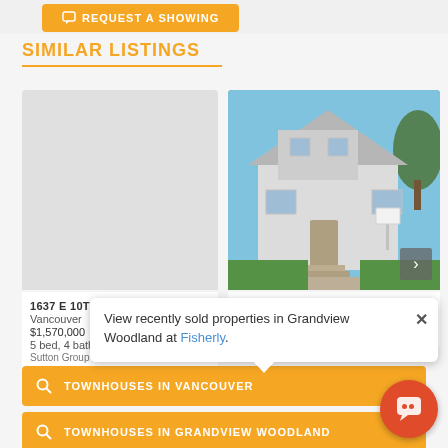[Figure (screenshot): REQUEST A SHOWING button at top in orange]
SIMILAR LISTINGS
[Figure (photo): Listing card placeholder grey for 1637 E 10TH AVENUE Vancouver]
1637 E 10TH AVENUE
Vancouver
$1,570,000
5 bed, 4 bath
Sutton Group - 1st West Re
[Figure (photo): House exterior photo for 1808 E 2 AVENUE Vancouver]
1808 E 2 AVENUE
Vancouver
$1,899,999
View recently sold properties in Grandview Woodland at Fisherly.
TOWNHOUSES IN VANCOUVER
TOWNHOUSES IN GRANDVIEW WOODLAND